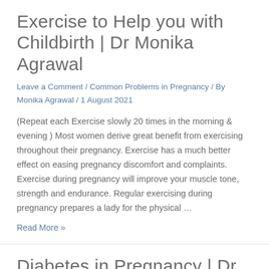Exercise to Help you with Childbirth | Dr Monika Agrawal
Leave a Comment / Common Problems in Pregnancy / By Monika Agrawal / 1 August 2021
(Repeat each Exercise slowly 20 times in the morning & evening ) Most women derive great benefit from exercising throughout their pregnancy. Exercise has a much better effect on easing pregnancy discomfort and complaints. Exercise during pregnancy will improve your muscle tone, strength and endurance. Regular exercising during pregnancy prepares a lady for the physical …
Read More »
Diabetes in Pregnancy | Dr Monika Agrawal